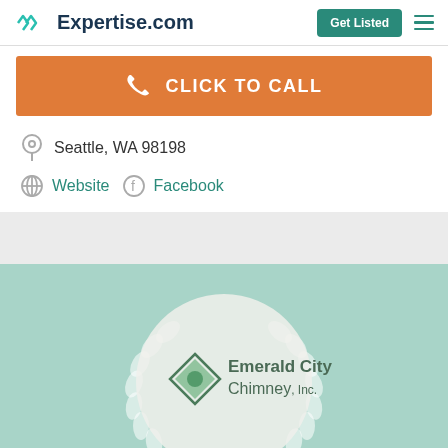Expertise.com | Get Listed
[Figure (screenshot): Orange CLICK TO CALL button with phone icon]
Seattle, WA 98198
Website  Facebook
[Figure (logo): Emerald City Chimney, Inc. logo inside a circular award badge with laurel wreath on teal background]